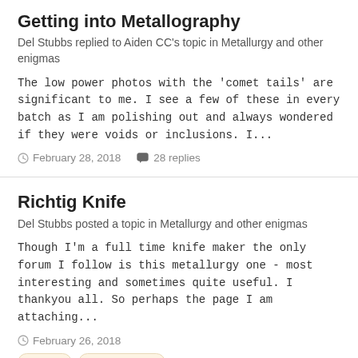Getting into Metallography
Del Stubbs replied to Aiden CC's topic in Metallurgy and other enigmas
The low power photos with the 'comet tails' are significant to me. I see a few of these in every batch as I am polishing out and always wondered if they were voids or inclusions. I...
February 28, 2018   28 replies
Richtig Knife
Del Stubbs posted a topic in Metallurgy and other enigmas
Though I'm a full time knife maker the only forum I follow is this metallurgy one - most interesting and sometimes quite useful. I thankyou all. So perhaps the page I am attaching...
February 26, 2018
history
austempering
(and 1 more)